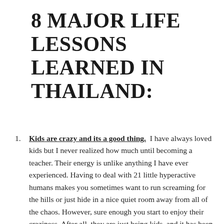8 MAJOR LIFE LESSONS LEARNED IN THAILAND:
Kids are crazy and its a good thing. I have always loved kids but I never realized how much until becoming a teacher. Their energy is unlike anything I have ever experienced. Having to deal with 21 little hyperactive humans makes you sometimes want to run screaming for the hills or just hide in a nice quiet room away from all of the chaos. However, sure enough you start to enjoy their craziness. After all, they are just being kids, and it has been a nice little reminder that deep inside of my heart